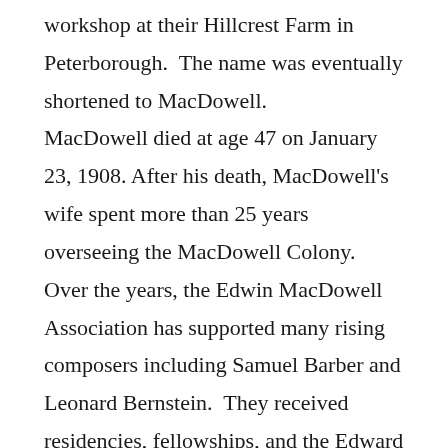workshop at their Hillcrest Farm in Peterborough. The name was eventually shortened to MacDowell. MacDowell died at age 47 on January 23, 1908. After his death, MacDowell's wife spent more than 25 years overseeing the MacDowell Colony. Over the years, the Edwin MacDowell Association has supported many rising composers including Samuel Barber and Leonard Bernstein. They received residencies, fellowships, and the Edward MacDowell Medal early in their careers, helping them get established. There have also been about 400 MacDowell music clubs around the country. These clubs have varied in size, with smaller ones having private meetings with talks and performances. Larger clubs held public events that included lectures, concerts, and art exhibitions.